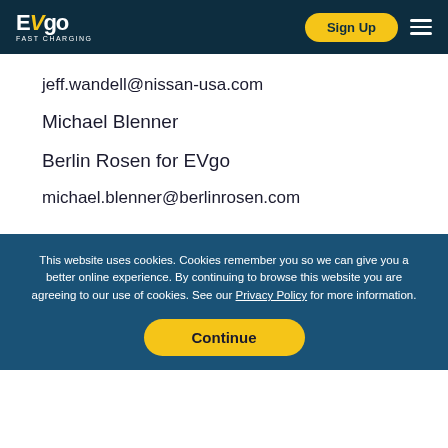EVgo FAST CHARGING — Sign Up
jeff.wandell@nissan-usa.com
Michael Blenner
Berlin Rosen for EVgo
michael.blenner@berlinrosen.com
This website uses cookies. Cookies remember you so we can give you a better online experience. By continuing to browse this website you are agreeing to our use of cookies. See our Privacy Policy for more information.
Continue